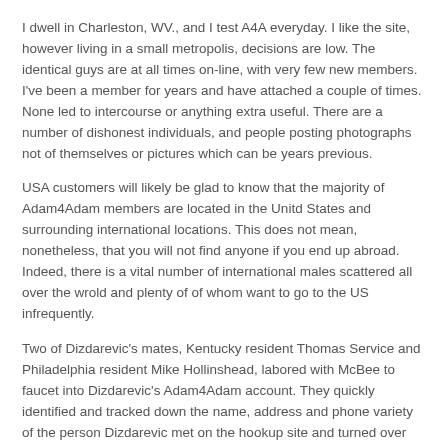I dwell in Charleston, WV., and I test A4A everyday. I like the site, however living in a small metropolis, decisions are low. The identical guys are at all times on-line, with very few new members. I've been a member for years and have attached a couple of times. None led to intercourse or anything extra useful. There are a number of dishonest individuals, and people posting photographs not of themselves or pictures which can be years previous.
USA customers will likely be glad to know that the majority of Adam4Adam members are located in the Unitd States and surrounding international locations. This does not mean, nonetheless, that you will not find anyone if you end up abroad. Indeed, there is a vital number of international males scattered all over the wrold and plenty of of whom want to go to the US infrequently.
Two of Dizdarevic's mates, Kentucky resident Thomas Service and Philadelphia resident Mike Hollinshead, labored with McBee to faucet into Dizdarevic's Adam4Adam account. They quickly identified and tracked down the name, address and phone variety of the person Dizdarevic met on the hookup site and turned over the data to police the day after Dizdarevic traveled to Chester.
Such a quick and easy registration implies that a median profile